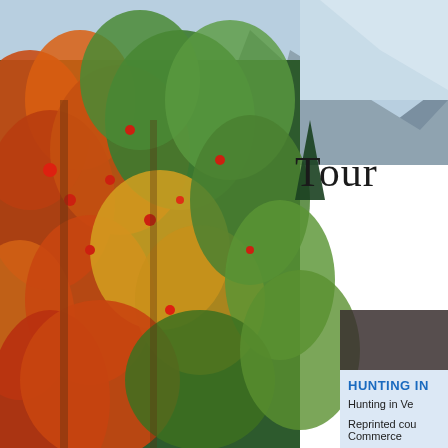[Figure (photo): Autumn foliage scene with colorful red, orange, yellow and green leaves on trees, with a mountain and blue sky visible in the background. The photo fills the left portion and background of the page.]
Tour
HUNTING IN
Hunting in Ve
Reprinted cou
Commerce